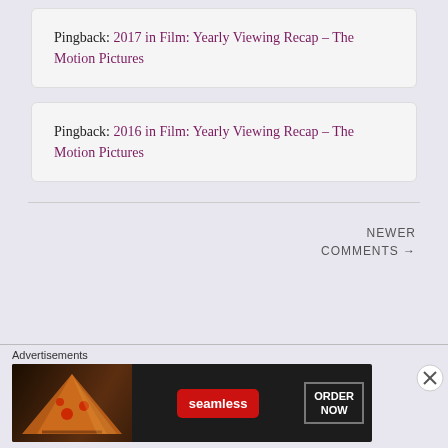Pingback: 2017 in Film: Yearly Viewing Recap – The Motion Pictures
Pingback: 2016 in Film: Yearly Viewing Recap – The Motion Pictures
NEWER COMMENTS →
Advertisements